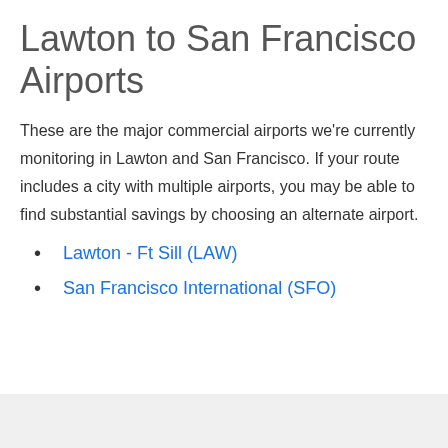Lawton to San Francisco Airports
These are the major commercial airports we're currently monitoring in Lawton and San Francisco. If your route includes a city with multiple airports, you may be able to find substantial savings by choosing an alternate airport.
Lawton - Ft Sill (LAW)
San Francisco International (SFO)